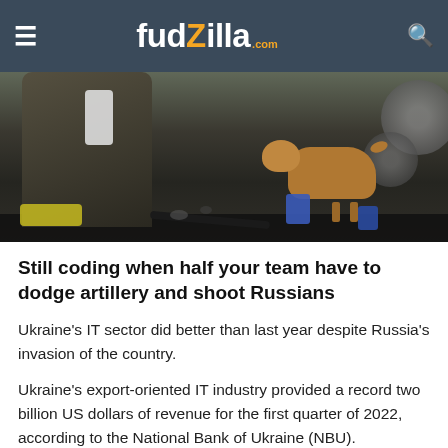fudzilla.com
[Figure (photo): War scene photograph showing a person crouching near heavy machinery/wheels in a dark urban environment, with a brown dog walking nearby. Yellow fabric and blue containers are visible on the ground.]
Still coding when half your team have to dodge artillery and shoot Russians
Ukraine’s IT sector did better than last year despite Russia’s invasion of the country.
Ukraine’s export-oriented IT industry provided a record two billion US dollars of revenue for the first quarter of 2022, according to the National Bank of Ukraine (NBU).